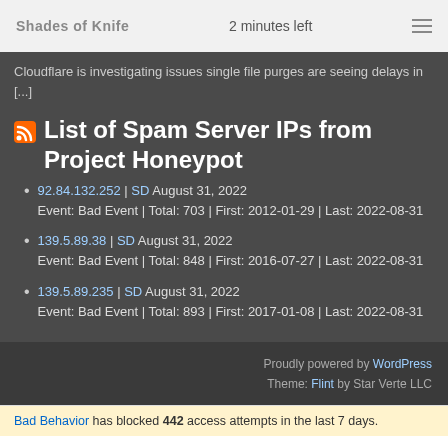Shades of Knife | 2 minutes left
Cloudflare is investigating issues single file purges are seeing delays in [...]
List of Spam Server IPs from Project Honeypot
92.84.132.252 | SD August 31, 2022
Event: Bad Event | Total: 703 | First: 2012-01-29 | Last: 2022-08-31
139.5.89.38 | SD August 31, 2022
Event: Bad Event | Total: 848 | First: 2016-07-27 | Last: 2022-08-31
139.5.89.235 | SD August 31, 2022
Event: Bad Event | Total: 893 | First: 2017-01-08 | Last: 2022-08-31
Proudly powered by WordPress
Theme: Flint by Star Verte LLC
Bad Behavior has blocked 442 access attempts in the last 7 days.